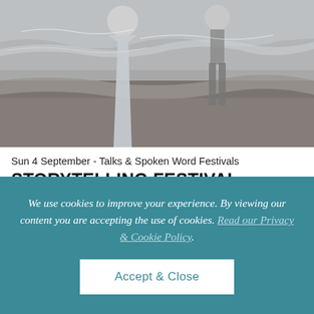[Figure (photo): Black and white photo of two people standing on a beach/shoreline with waves in the background. One person wearing a long flowing dress, another in shorts. Pebbly beach visible.]
Sun 4 September - Talks & Spoken Word Festivals
STORYTELLING FESTIVAL: STORYWALK: FAIRY TALE OF ABERYSTWYTH
We use cookies to improve your experience. By viewing our content you are accepting the use of cookies. Read our Privacy & Cookie Policy.
Accept & Close